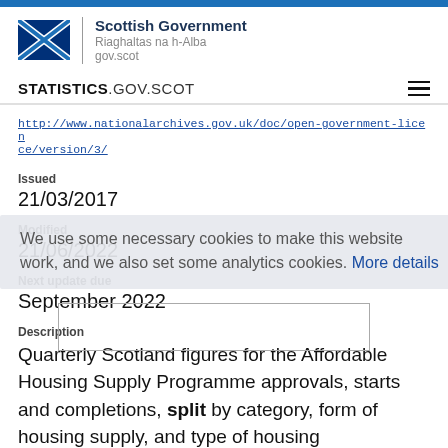[Figure (logo): Scottish Government logo with Saltire flag and text 'Scottish Government / Riaghaltas na h-Alba / gov.scot']
STATISTICS.GOV.SCOT
http://www.nationalarchives.gov.uk/doc/open-government-licence/version/3/
Issued
21/03/2017
Modified
21/06/2022
Next update due
September 2022
We use some necessary cookies to make this website work, and we also set some analytics cookies. More details
Description
Quarterly Scotland figures for the Affordable Housing Supply Programme approvals, starts and completions, split by category, form of housing supply, and type of housing